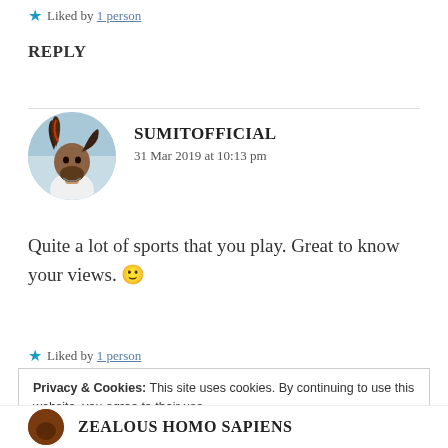★ Liked by 1 person
REPLY
[Figure (photo): Circular avatar of user SUMITOFFICIAL, a man with dreadlocks]
SUMITOFFICIAL
31 Mar 2019 at 10:13 pm
Quite a lot of sports that you play. Great to know your views. 🙂
★ Liked by 1 person
Privacy & Cookies: This site uses cookies. By continuing to use this website, you agree to their use.
To find out more, including how to control cookies, see here: Cookie Policy
ZEALOUS HOMO SAPIENS